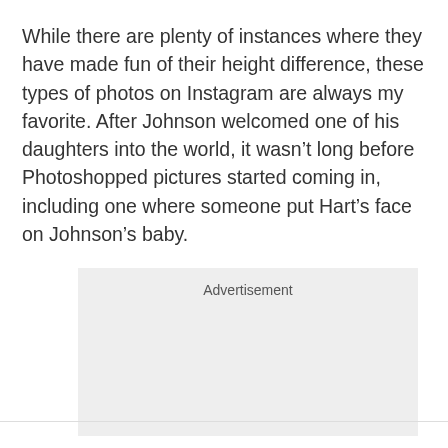While there are plenty of instances where they have made fun of their height difference, these types of photos on Instagram are always my favorite. After Johnson welcomed one of his daughters into the world, it wasn't long before Photoshopped pictures started coming in, including one where someone put Hart's face on Johnson's baby.
[Figure (other): Advertisement placeholder box with light gray background and 'Advertisement' label at the top]